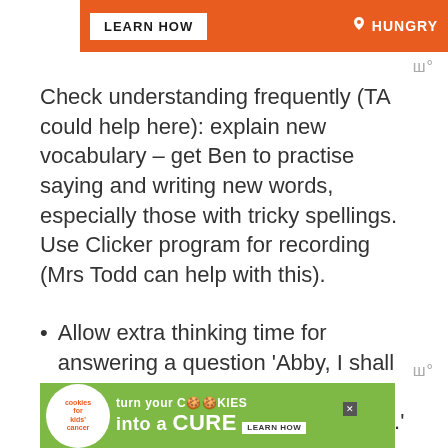[Figure (infographic): Orange advertisement banner at top with 'LEARN HOW' button and 'HUNGRY' text with icon]
Check understanding frequently (TA could help here): explain new vocabulary – get Ben to practise saying and writing new words, especially those with tricky spellings. Use Clicker program for recording (Mrs Todd can help with this).
Allow extra thinking time for answering a question 'Abby, I shall ask you to tell me what you think after Sophie has finished speaking.'
[Figure (infographic): Green advertisement banner at bottom for cookies for kids cancer - 'turn your COOKIES into a CURE LEARN HOW']